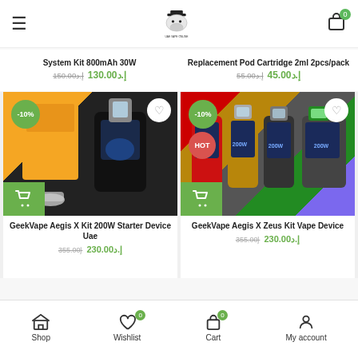UAE Vape Online shop header with logo, hamburger menu and cart icon
System Kit 800mAh 30W — 150.00إ.د  130.00إ.د
Replacement Pod Cartridge 2ml 2pcs/pack — 55.00إ.د  45.00إ.د
[Figure (photo): GeekVape Aegis X Kit 200W Starter Device UAE product image with -10% badge and cart button]
[Figure (photo): GeekVape Aegis X Zeus Kit Vape Device product image with -10% badge, HOT badge and cart button]
GeekVape Aegis X Kit 200W Starter Device Uae
355.00إ  230.00إ
GeekVape Aegis X Zeus Kit Vape Device
355.00إ  230.00إ
Shop  Wishlist 0  Cart 0  My account